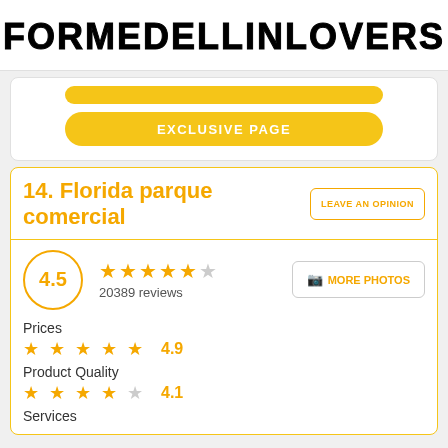FORMEDELLINLOVERS
[Figure (screenshot): Yellow button bar (partial top button visible)]
EXCLUSIVE PAGE
14. Florida parque comercial
LEAVE AN OPINION
4.5 — 20389 reviews (4.5 stars out of 5)
MORE PHOTOS
Prices
★★★★★ 4.9
Product Quality
★★★★☆ 4.1
Services